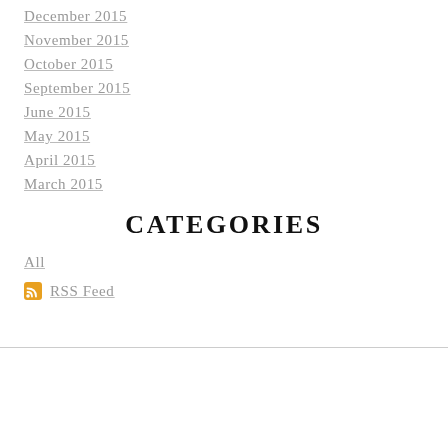December 2015
November 2015
October 2015
September 2015
June 2015
May 2015
April 2015
March 2015
CATEGORIES
All
RSS Feed